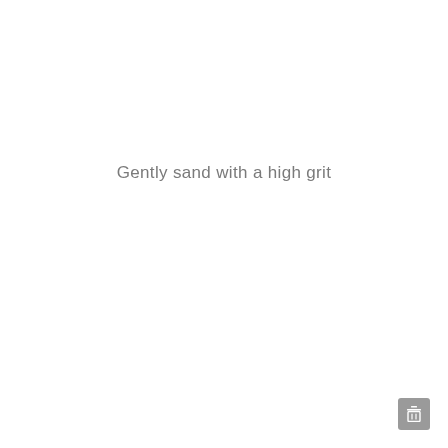Gently sand with a high grit
[Figure (other): Small grey square button with a white icon in the bottom-right corner]